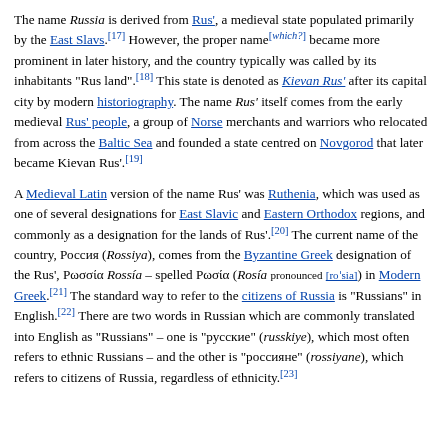The name Russia is derived from Rus', a medieval state populated primarily by the East Slavs.[17] However, the proper name[which?] became more prominent in later history, and the country typically was called by its inhabitants "Rus land".[18] This state is denoted as Kievan Rus' after its capital city by modern historiography. The name Rus' itself comes from the early medieval Rus' people, a group of Norse merchants and warriors who relocated from across the Baltic Sea and founded a state centred on Novgorod that later became Kievan Rus'.[19]
A Medieval Latin version of the name Rus' was Ruthenia, which was used as one of several designations for East Slavic and Eastern Orthodox regions, and commonly as a designation for the lands of Rus'.[20] The current name of the country, Россия (Rossiya), comes from the Byzantine Greek designation of the Rus', Ρωσσία Rossía – spelled Ρωσία (Rosía pronounced [roˈsia]) in Modern Greek.[21] The standard way to refer to the citizens of Russia is "Russians" in English.[22] There are two words in Russian which are commonly translated into English as "Russians" – one is "русские" (russkiye), which most often refers to ethnic Russians – and the other is "россияне" (rossiyane), which refers to citizens of Russia, regardless of ethnicity.[23]